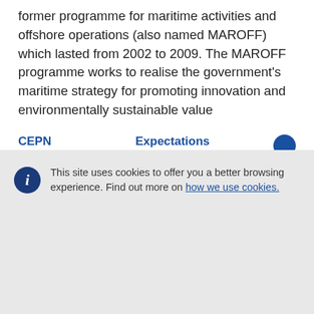former programme for maritime activities and offshore operations (also named MAROFF) which lasted from 2002 to 2009. The MAROFF programme works to realise the government's maritime strategy for promoting innovation and environmentally sustainable value
This site uses cookies to offer you a better browsing experience. Find out more on how we use cookies.
Accept all cookies
Accept only essential cookies